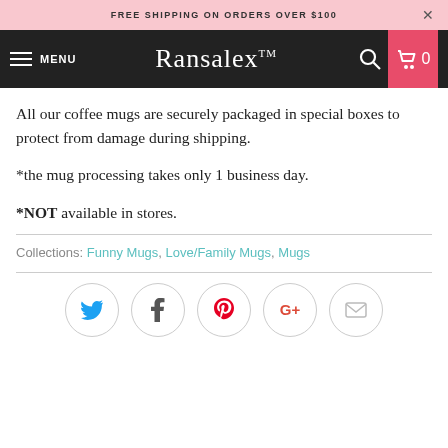FREE SHIPPING ON ORDERS OVER $100
[Figure (screenshot): Ransalex TM logo and navigation bar with hamburger menu, search icon, and cart icon on dark background]
All our coffee mugs are securely packaged in special boxes to protect from damage during shipping.
*the mug processing takes only 1 business day.
*NOT available in stores.
Collections: Funny Mugs, Love/Family Mugs, Mugs
[Figure (infographic): Social share buttons: Twitter, Facebook, Pinterest, Google+, Email]